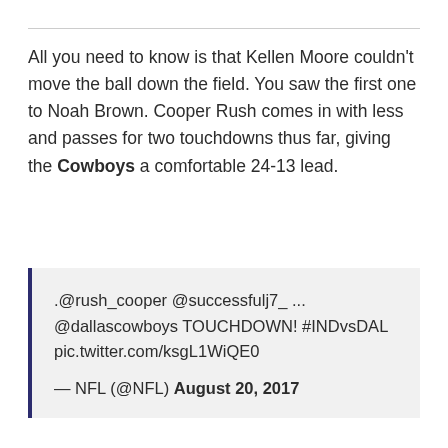All you need to know is that Kellen Moore couldn't move the ball down the field. You saw the first one to Noah Brown. Cooper Rush comes in with less and passes for two touchdowns thus far, giving the Cowboys a comfortable 24-13 lead.
.@rush_cooper @successfulj7_ ... @dallascowboys TOUCHDOWN! #INDvsDAL pic.twitter.com/ksgL1WiQE0
— NFL (@NFL) August 20, 2017